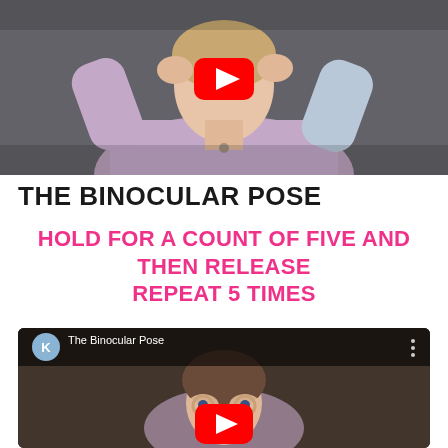[Figure (photo): Woman in a light purple/lavender top performing a face exercise with her hands raised to her face/head, in a kitchen setting. A YouTube play button overlay is visible.]
THE BINOCULAR POSE
HOLD FOR A COUNT OF FIVE AND THEN RELEASE REPEAT 5 TIMES
[Figure (screenshot): YouTube video thumbnail for 'The Binocular Pose' showing a girl forming binoculars with her fingers around her eyes. Features YouTube play button, channel logo with K, video title, and menu dots.]